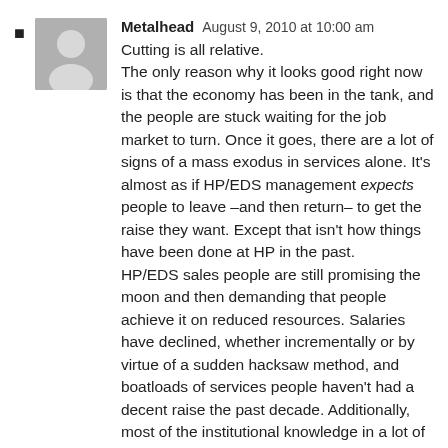Metalhead  August 9, 2010 at 10:00 am

Cutting is all relative.
The only reason why it looks good right now is that the economy has been in the tank, and the people are stuck waiting for the job market to turn. Once it goes, there are a lot of signs of a mass exodus in services alone. It's almost as if HP/EDS management expects people to leave –and then return– to get the raise they want. Except that isn't how things have been done at HP in the past.
HP/EDS sales people are still promising the moon and then demanding that people achieve it on reduced resources. Salaries have declined, whether incrementally or by virtue of a sudden hacksaw method, and boatloads of services people haven't had a decent raise the past decade. Additionally, most of the institutional knowledge in a lot of these services accounts will disappear when people jump ship for greener pastures.